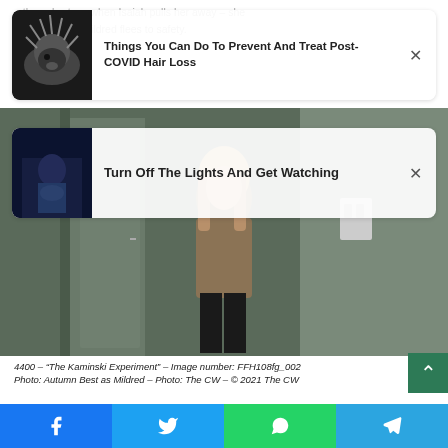...the only stops when Isaiah pulls her away – she escapes...Mildred flees to safety.
[Figure (screenshot): Ad card: thumbnail of animal (hedgehog/porcupine) with article title 'Things You Can Do To Prevent And Treat Post-COVID Hair Loss' and close button]
[Figure (screenshot): Ad card: thumbnail of dark scene with person, article title 'Turn Off The Lights And Get Watching' and close button]
[Figure (photo): Still from TV show 4400 – The Kaminski Experiment, showing Autumn Best as Mildred standing in a hallway in a brown jacket]
4400 – "The Kaminski Experiment" – Image number: FFH108fg_002 Photo: Autumn Best as Mildred – Photo: The CW – © 2021 The CW
[Figure (screenshot): Social sharing bar at bottom with Facebook, Twitter, WhatsApp, and Telegram buttons. Green scroll-to-top button on the right side.]